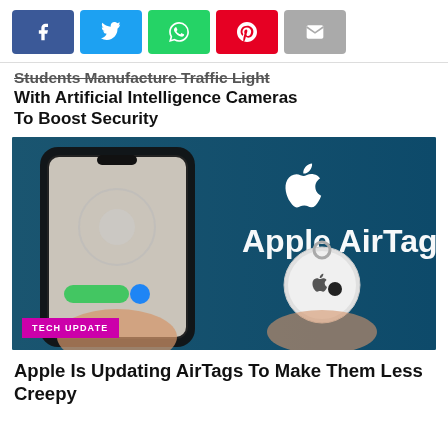[Figure (other): Social share buttons: Facebook (blue), Twitter (light blue), WhatsApp (green), Pinterest (red), Email (gray)]
Students Manufacture Traffic Light With Artificial Intelligence Cameras To Boost Security
[Figure (photo): Person holding an iPhone and Apple AirTag in front of a teal background with Apple logo and text 'Apple AirTags'. Badge reads 'TECH UPDATE'.]
Apple Is Updating AirTags To Make Them Less Creepy